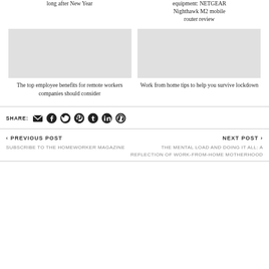long after New Year
equipment: NETGEAR Nighthawk M2 mobile router review
[Figure (photo): Image placeholder for employee benefits article]
The top employee benefits for remote workers companies should consider
[Figure (photo): Image placeholder for work from home tips article]
Work from home tips to help you survive lockdown
SHARE: [email, facebook, twitter, pinterest, tumblr, linkedin, wordpress icons]
< PREVIOUS POST
NEXT POST >
SUBSCRIBE TO THE HOMEWORKER MAGAZINE
THE MENTAL LOAD AND DOING IT ALL: A REFLECTION OF WORK-FROM-HOME MOTHERHOOD